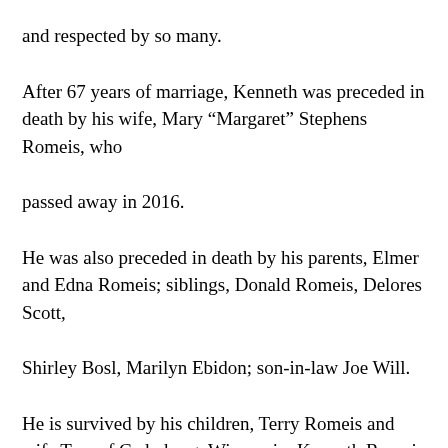and respected by so many.
After 67 years of marriage, Kenneth was preceded in death by his wife, Mary “Margaret” Stephens Romeis, who
passed away in 2016.
He was also preceded in death by his parents, Elmer and Edna Romeis; siblings, Donald Romeis, Delores Scott,
Shirley Bosl, Marilyn Ebidon; son-in-law Joe Will.
He is survived by his children, Terry Romeis and wife Tess of Cedarburg, Wisconsin, Kenneth Romeis and